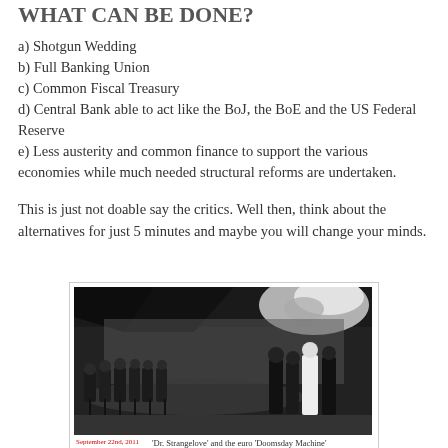WHAT CAN BE DONE?
a) Shotgun Wedding
b) Full Banking Union
c) Common Fiscal Treasury
d) Central Bank able to act like the BoJ, the BoE and the US Federal Reserve
e) Less austerity and common finance to support the various economies while much needed structural reforms are undertaken.
This is just not doable say the critics. Well then, think about the alternatives for just 5 minutes and maybe you will change your minds.
[Figure (photo): Black and white still from Dr. Strangelove showing a war room scene with people seated around a large table and a bright explosion visible on a screen in the background.]
'Dr. Strangelove' and the euro 'Doomsday Machine'